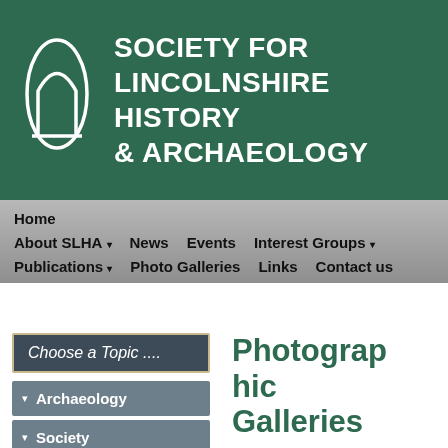[Figure (logo): Stylized white arch/lancet window outline on dark green background — logo of the Society for Lincolnshire History and Archaeology]
SOCIETY FOR LINCOLNSHIRE HISTORY & ARCHAEOLOGY
Home
About SLHA ▾
News
Events
Interest Groups ▾
Publications ▾
Photo Galleries
Links
Contact us
Choose a Topic ....
▾ Archaeology
▾ Society
▾ Churches
▾ Settlement
Photographic Galleries
A B C D E (letter index buttons)
Bratoft